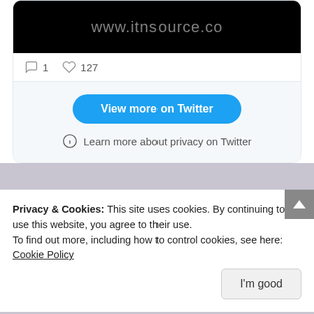[Figure (screenshot): Twitter embedded card showing a video thumbnail with www.itnsource.co text on black background, with 1 comment and 127 likes stats]
1  127
View more on Twitter
Learn more about privacy on Twitter
Privacy & Cookies: This site uses cookies. By continuing to use this website, you agree to their use.
To find out more, including how to control cookies, see here: Cookie Policy
I'm good
Journalism 2020